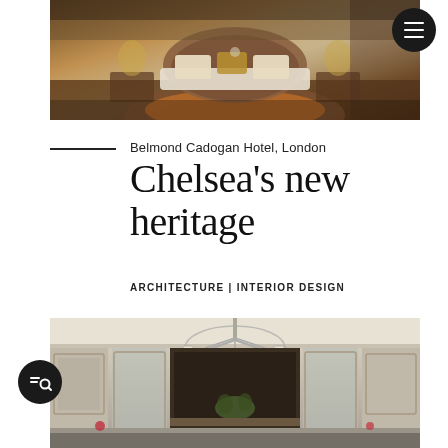[Figure (photo): Luxury hotel bedroom with tufted headboard, decorative pillows, velvet sofa, and warm lighting at Belmond Cadogan Hotel]
Belmond Cadogan Hotel, London
Chelsea's new heritage
ARCHITECTURE | INTERIOR DESIGN
[Figure (photo): Grand hotel lobby with ornate chandelier, white paneled walls, mirrors, and decorative reception area at Belmond Cadogan Hotel]